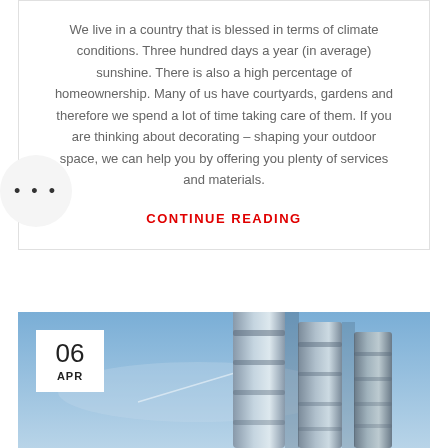We live in a country that is blessed in terms of climate conditions. Three hundred days a year (in average) sunshine. There is also a high percentage of homeownership. Many of us have courtyards, gardens and therefore we spend a lot of time taking care of them. If you are thinking about decorating – shaping your outdoor space, we can help you by offering you plenty of services and materials.
CONTINUE READING
[Figure (photo): Industrial tall cylindrical metal pipes or towers photographed from below against a blue sky, with a date badge showing 06 APR in the top-left corner.]